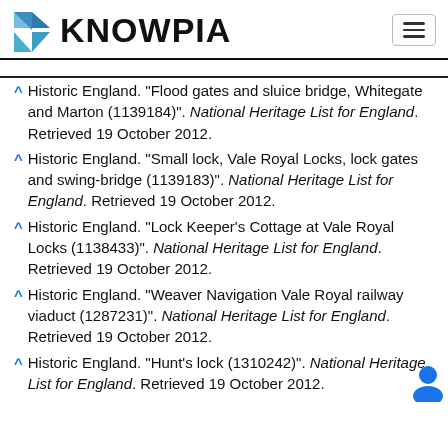KNOWPIA
^ Historic England. "Flood gates and sluice bridge, Whitegate and Marton (1139184)". National Heritage List for England. Retrieved 19 October 2012.
^ Historic England. "Small lock, Vale Royal Locks, lock gates and swing-bridge (1139183)". National Heritage List for England. Retrieved 19 October 2012.
^ Historic England. "Lock Keeper's Cottage at Vale Royal Locks (1138433)". National Heritage List for England. Retrieved 19 October 2012.
^ Historic England. "Weaver Navigation Vale Royal railway viaduct (1287231)". National Heritage List for England. Retrieved 19 October 2012.
^ Historic England. "Hunt's lock (1310242)". National Heritage List for England. Retrieved 19 October 2012.